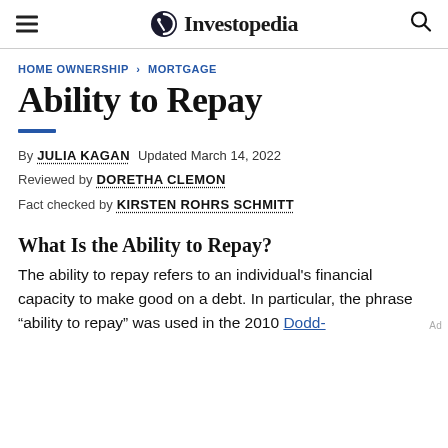Investopedia
HOME OWNERSHIP > MORTGAGE
Ability to Repay
By JULIA KAGAN Updated March 14, 2022
Reviewed by DORETHA CLEMON
Fact checked by KIRSTEN ROHRS SCHMITT
What Is the Ability to Repay?
The ability to repay refers to an individual's financial capacity to make good on a debt. In particular, the phrase “ability to repay” was used in the 2010 Dodd-